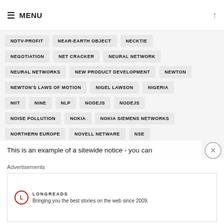MENU
NDTV-PROFIT
NEAR-EARTH OBJECT
NECKTIE
NEGOTIATION
NET CRACKER
NEURAL NETWORK
NEURAL NETWORKS
NEW PRODUCT DEVELOPMENT
NEWTON
NEWTON'S LAWS OF MOTION
NIGEL LAWSON
NIGERIA
NIIT
NINE
NLP
NODEJS
NODEJS
NOISE POLLUTION
NOKIA
NOKIA SIEMENS NETWORKS
NORTHERN EUROPE
NOVELL NETWARE
NSE
NUCLEAR POWER
NUCLEAR TECHNOLOGY
NUMERICAL ANALYSIS
NUTRITION FACTS LABEL
NYSE
OFF-SHORING
OFFICE
OLA
OLX
This is an example of a sitewide notice - you can
Advertisements
LONGREADS Bringing you the best stories on the web since 2009.